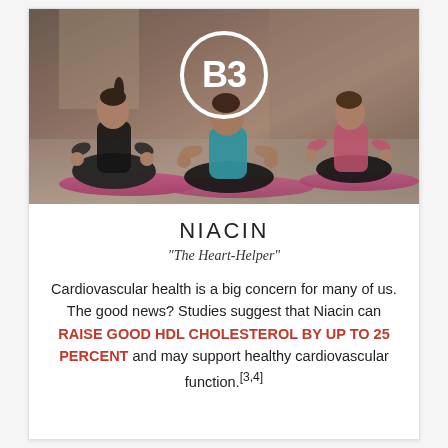[Figure (photo): Photo of women in yoga/meditation poses sitting cross-legged on pink mats in a gym, with a white B3 circle badge overlaid at the top center]
NIACIN
“The Heart-Helper”
Cardiovascular health is a big concern for many of us. The good news? Studies suggest that Niacin can RAISE GOOD HDL CHOLESTEROL BY UP TO 25 PERCENT and may support healthy cardiovascular function.[3,4]